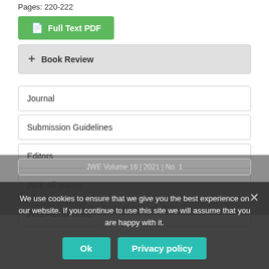Pages: 220-222
Full Text PDF
+ Book Review
Journal
Submission Guidelines
Editors
JWE All Issues
JWE Actual Issue
We use cookies to ensure that we give you the best experience on our website. If you continue to use this site we will assume that you are happy with it.
Ok
Privacy policy
JWE Volume 16 | 2021 | No. 1
JWE Volume 16 | 2021 | No. 4